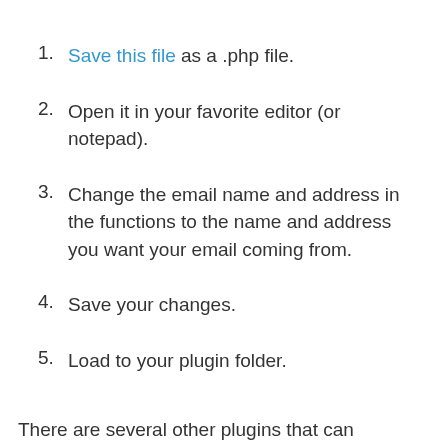Save this file as a .php file.
Open it in your favorite editor (or notepad).
Change the email name and address in the functions to the name and address you want your email coming from.
Save your changes.
Load to your plugin folder.
There are several other plugins that can